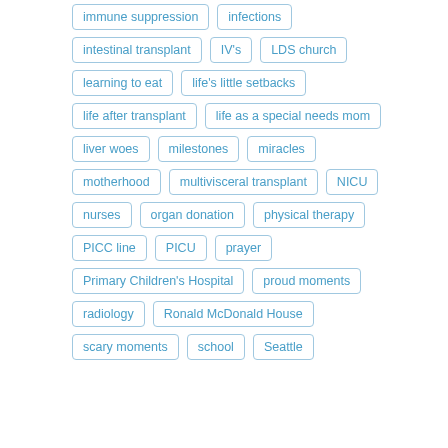immune suppression
infections
intestinal transplant
IV's
LDS church
learning to eat
life's little setbacks
life after transplant
life as a special needs mom
liver woes
milestones
miracles
motherhood
multivisceral transplant
NICU
nurses
organ donation
physical therapy
PICC line
PICU
prayer
Primary Children's Hospital
proud moments
radiology
Ronald McDonald House
scary moments
school
Seattle